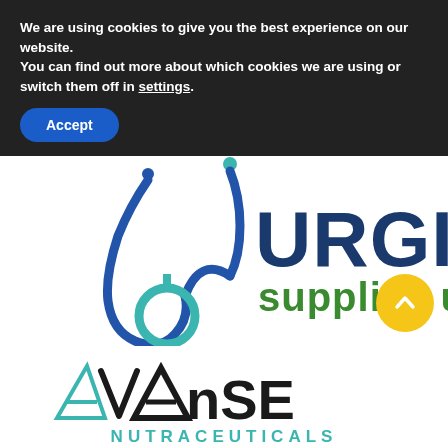We are using cookies to give you the best experience on our website.
You can find out more about which cookies we are using or switch them off in settings.
Accept
[Figure (logo): Surgical Supplies US logo with stethoscope graphic in blue and green, text 'SURGICAL' in dark blue bold uppercase and 'supplies us' in green]
[Figure (other): Yellow circular scroll-to-top button with upward chevron arrow]
[Figure (logo): Avanse Nutraceuticals logo with stylized A/V letterforms in teal and black, 'NUTRACEUTICALS' in teal, tagline 'Be The Best Version of Yourself']